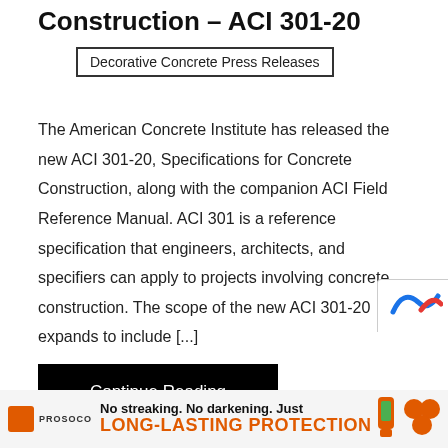Construction – ACI 301-20
Decorative Concrete Press Releases
The American Concrete Institute has released the new ACI 301-20, Specifications for Concrete Construction, along with the companion ACI Field Reference Manual. ACI 301 is a reference specification that engineers, architects, and specifiers can apply to projects involving concrete construction. The scope of the new ACI 301-20 expands to include [...]
Continue Reading
[Figure (logo): PROSOCO brand logo with orange square icon]
No streaking. No darkening. Just LONG-LASTING PROTECTION